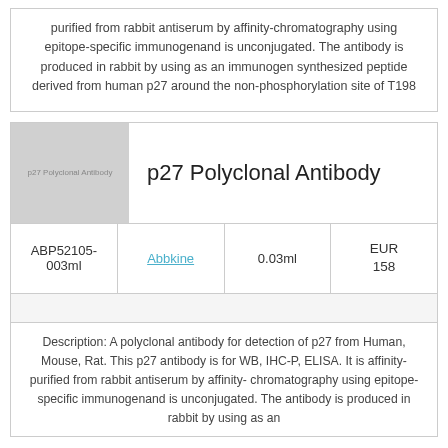purified from rabbit antiserum by affinity-chromatography using epitope-specific immunogenand is unconjugated. The antibody is produced in rabbit by using as an immunogen synthesized peptide derived from human p27 around the non-phosphorylation site of T198
[Figure (photo): Placeholder image for p27 Polyclonal Antibody product]
p27 Polyclonal Antibody
|  | Supplier | Volume | Price |
| --- | --- | --- | --- |
| ABP52105-003ml | Abbkine | 0.03ml | EUR 158 |
Description: A polyclonal antibody for detection of p27 from Human, Mouse, Rat. This p27 antibody is for WB, IHC-P, ELISA. It is affinity-purified from rabbit antiserum by affinity-chromatography using epitope-specific immunogenand is unconjugated. The antibody is produced in rabbit by using as an